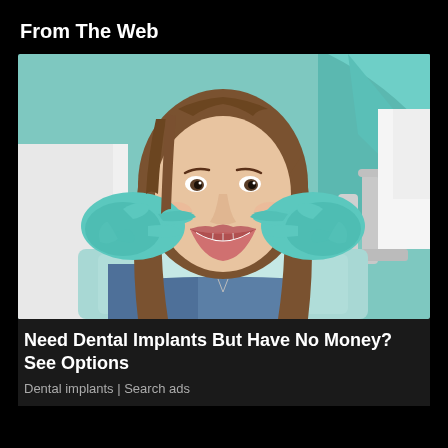From The Web
[Figure (photo): A smiling young woman with long brown hair reclined in a dental chair, wearing a light blue dental bib. A dentist in a white coat and teal/mint latex gloves holds her face gently from both sides. The background shows a teal dental chair and dental equipment.]
Need Dental Implants But Have No Money? See Options
Dental implants | Search ads